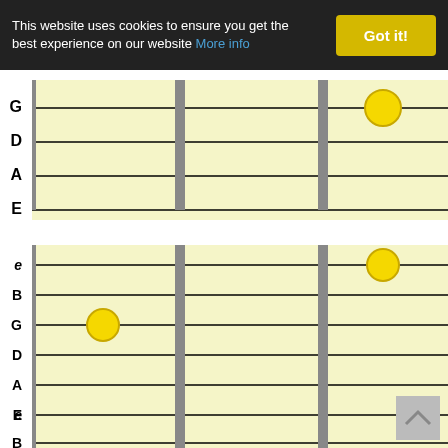This website uses cookies to ensure you get the best experience on our website More info  Got it!
[Figure (illustration): Guitar fretboard diagram 1 (bass guitar): strings G, D, A, E shown with one yellow dot on the G string at the 3rd fret area]
[Figure (illustration): Guitar fretboard diagram 2 (6-string): strings e, B, G, D, A, E shown with yellow dot on e string at 3rd fret and yellow dot on G string at 1st fret]
[Figure (illustration): Guitar fretboard diagram 3 (6-string): strings e, B, G, D, A, E shown with yellow dot on e string at 4th fret and yellow dot on G string open/1st position]